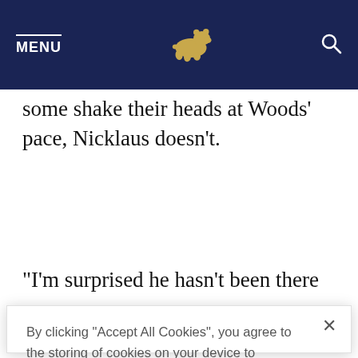MENU [bear logo] [search icon]
some shake their heads at Woods' pace, Nicklaus doesn't.
“I’m surprised he hasn’t been there
By clicking “Accept All Cookies”, you agree to the storing of cookies on your device to enhance site navigation, analyze site usage, and assist in our marketing efforts.
Cookies Settings   Accept All Cookies